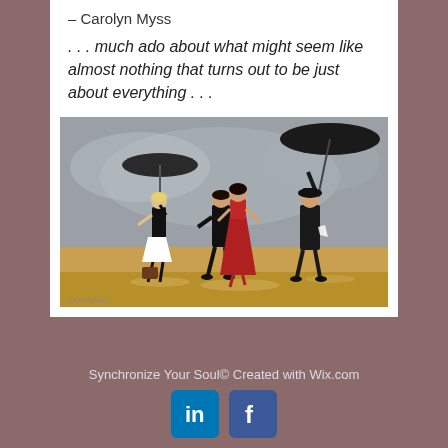- Carolyn Myss
... much ado about what might seem like almost nothing that turns out to be just about everything ...
[Figure (illustration): Painting of three figures dancing outdoors in the rain with umbrellas. A couple dances in the center, a man holds an umbrella on the right, and a woman bows on the left holding an umbrella. Painted in a realistic style with warm amber ground and grey sky.]
Synchronize Your Soul©  Created with Wix.com